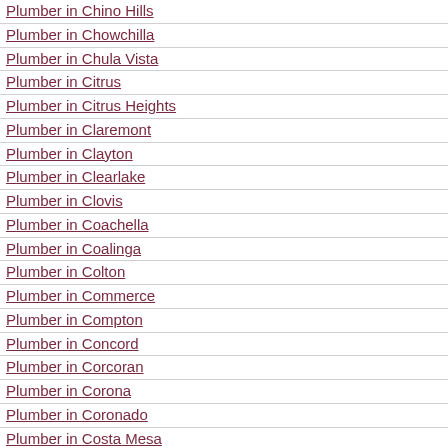Plumber in Chino Hills
Plumber in Chowchilla
Plumber in Chula Vista
Plumber in Citrus
Plumber in Citrus Heights
Plumber in Claremont
Plumber in Clayton
Plumber in Clearlake
Plumber in Clovis
Plumber in Coachella
Plumber in Coalinga
Plumber in Colton
Plumber in Commerce
Plumber in Compton
Plumber in Concord
Plumber in Corcoran
Plumber in Corona
Plumber in Coronado
Plumber in Costa Mesa
Plumber in Coto de Caza
Plumber in Covina
Plumber in Crestline
Plumber in Cudahy
Plumber in Culver
Plumber in Cupertino
Plumber in Cypress
Plumber in Daly City
Plumber in Dana Point